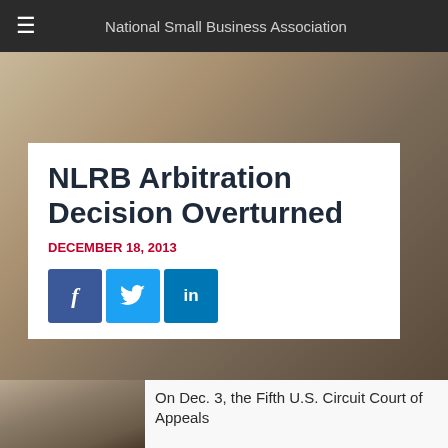National Small Business Association
NLRB Arbitration Decision Overturned
December 18, 2013
[Figure (other): Social share buttons: Facebook (f), Twitter (bird icon), LinkedIn (in)]
[Figure (photo): Photo of a wooden gavel on a desk, representing legal/court proceedings]
On Dec. 3, the Fifth U.S. Circuit Court of Appeals